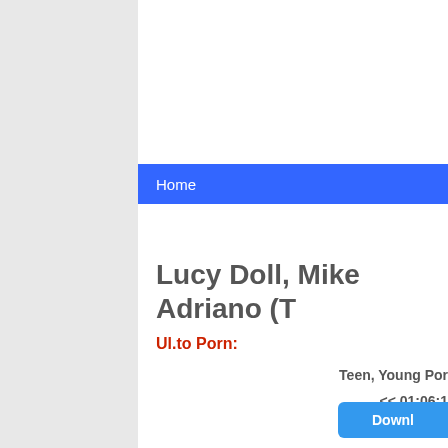Home
Lucy Doll, Mike Adriano (T
Ul.to Porn:
Teen, Young Por
<< 01:06:1
Downl